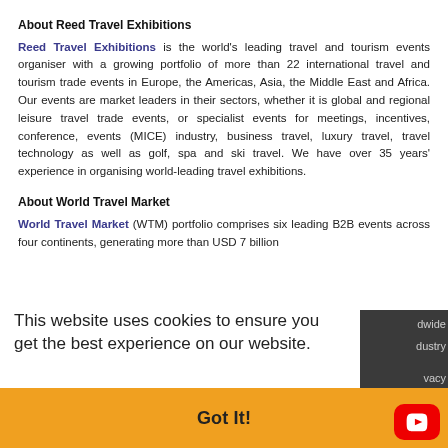About Reed Travel Exhibitions
Reed Travel Exhibitions is the world's leading travel and tourism events organiser with a growing portfolio of more than 22 international travel and tourism trade events in Europe, the Americas, Asia, the Middle East and Africa. Our events are market leaders in their sectors, whether it is global and regional leisure travel trade events, or specialist events for meetings, incentives, conference, events (MICE) industry, business travel, luxury travel, travel technology as well as golf, spa and ski travel. We have over 35 years' experience in organising world-leading travel exhibitions.
About World Travel Market
World Travel Market (WTM) portfolio comprises six leading B2B events across four continents, generating more than USD 7 billion
This website uses cookies to ensure you get the best experience on our website.
Got It!